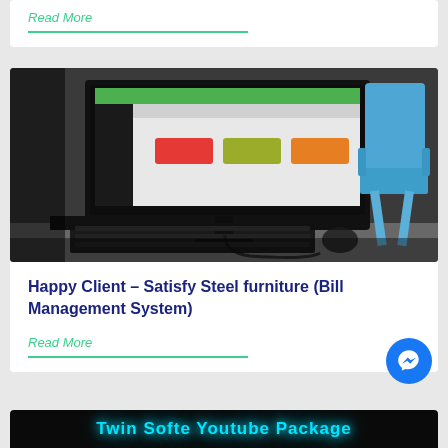Read More
[Figure (screenshot): Photo of a computer monitor on a desk showing a web application with green header and colorful buttons, with a blue plastic chair in the background]
Happy Client – Satisfy Steel furniture (Bill Management System)
Read More
[Figure (photo): Bottom card showing blue LED text: Twin Softe Youtube Package]